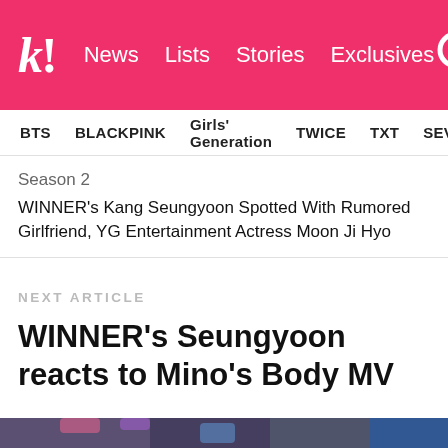k! News Lists Stories Exclusives
BTS BLACKPINK Girls' Generation TWICE TXT SEVE
Season 2
WINNER's Kang Seungyoon Spotted With Rumored Girlfriend, YG Entertainment Actress Moon Ji Hyo
NEXT ARTICLE
WINNER's Seungyoon reacts to Mino's Body MV
[Figure (photo): WINNER group members in a stylized setting, dark interior with colorful decorations]